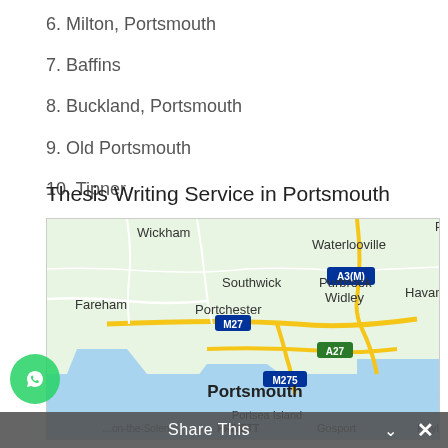6. Milton, Portsmouth
7. Baffins
8. Buckland, Portsmouth
9. Old Portsmouth
10. Tipner
Thesis Writing Service in Portsmouth
[Figure (map): Google Map screenshot showing Portsmouth and surrounding areas including Wickham, Waterlooville, Southwick, Purbrook, Widley, Fareham, Portchester, Havant, Portsmouth, Portsea Island, Gosport, Hayling. Roads visible include A3(M), M27, A27, M275.]
Share This